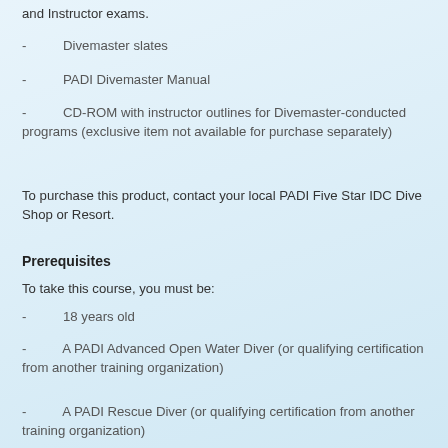and Instructor exams.
- Divemaster slates
- PADI Divemaster Manual
- CD-ROM with instructor outlines for Divemaster-conducted programs (exclusive item not available for purchase separately)
To purchase this product, contact your local PADI Five Star IDC Dive Shop or Resort.
Prerequisites
To take this course, you must be:
- 18 years old
- A PADI Advanced Open Water Diver (or qualifying certification from another training organization)
- A PADI Rescue Diver (or qualifying certification from another training organization)